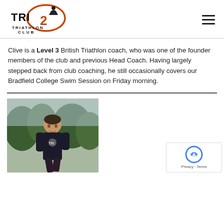[Figure (logo): Tri2 Triathlon Club logo with orange cyclist and stylized text]
Clive is a Level 3 British Triathlon coach, who was one of the founder members of the club and previous Head Coach. Having largely stepped back from club coaching, he still occasionally covers our Bradfield College Swim Session on Friday morning.
[Figure (photo): Photo of a man in a triathlon racing suit running outdoors with trees in background]